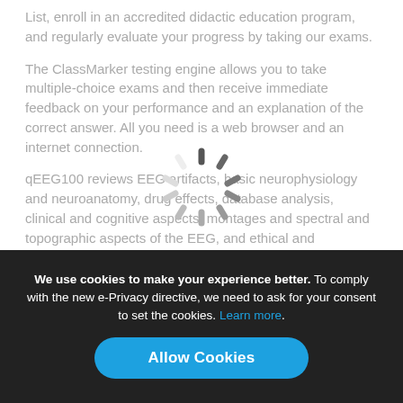List, enroll in an accredited didactic education program, and regularly evaluate your progress by taking our exams.
The ClassMarker testing engine allows you to take multiple-choice exams and then receive immediate feedback on your performance and an explanation of the correct answer. All you need is a web browser and an internet connection.
qEEG100 reviews EEG artifacts, basic neurophysiology and neuroanatomy, drug effects, database analysis, clinical and cognitive aspects, montages and spectral and topographic aspects of the EEG, and ethical and professional conduct.
This testing service is not affiliated with nor endorsed by the International QEEG Certification Board and we make no claim as to its impact on your certification exam
[Figure (other): Loading spinner / activity indicator overlay]
We use cookies to make your experience better. To comply with the new e-Privacy directive, we need to ask for your consent to set the cookies. Learn more.
Allow Cookies